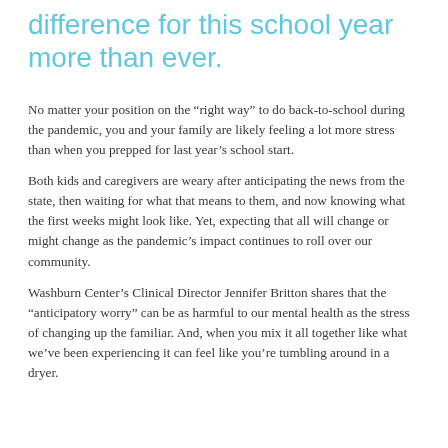difference for this school year more than ever.
No matter your position on the “right way” to do back-to-school during the pandemic, you and your family are likely feeling a lot more stress than when you prepped for last year’s school start.
Both kids and caregivers are weary after anticipating the news from the state, then waiting for what that means to them, and now knowing what the first weeks might look like. Yet, expecting that all will change or might change as the pandemic’s impact continues to roll over our community.
Washburn Center’s Clinical Director Jennifer Britton shares that the “anticipatory worry” can be as harmful to our mental health as the stress of changing up the familiar. And, when you mix it all together like what we’ve been experiencing it can feel like you’re tumbling around in a dryer.